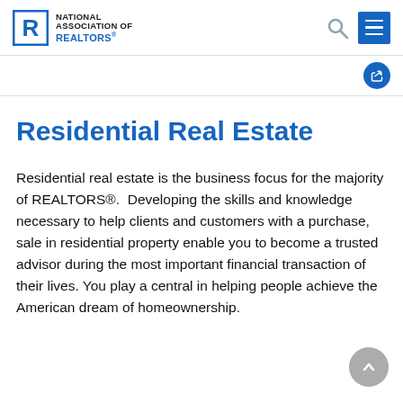NATIONAL ASSOCIATION OF REALTORS®
Residential Real Estate
Residential real estate is the business focus for the majority of REALTORS®. Developing the skills and knowledge necessary to help clients and customers with a purchase, sale in residential property enable you to become a trusted advisor during the most important financial transaction of their lives. You play a central in helping people achieve the American dream of homeownership.